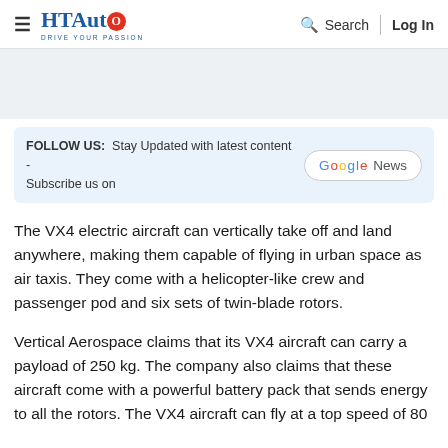HT Auto | Drive Your Passion — Search | Log In
[Figure (other): Advertisement placeholder area (light grey background)]
FOLLOW US: Stay Updated with latest content - Subscribe us on Google News
The VX4 electric aircraft can vertically take off and land anywhere, making them capable of flying in urban space as air taxis. They come with a helicopter-like crew and passenger pod and six sets of twin-blade rotors.
Vertical Aerospace claims that its VX4 aircraft can carry a payload of 250 kg. The company also claims that these aircraft come with a powerful battery pack that sends energy to all the rotors. The VX4 aircraft can fly at a top speed of 80